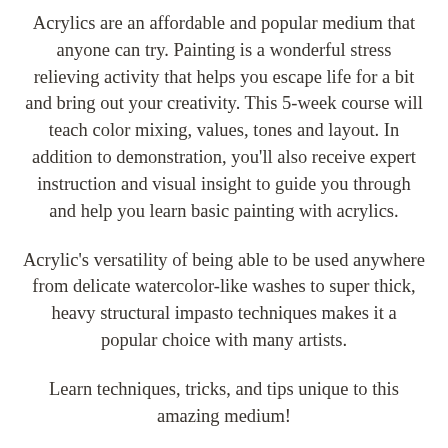Acrylics are an affordable and popular medium that anyone can try. Painting is a wonderful stress relieving activity that helps you escape life for a bit and bring out your creativity. This 5-week course will teach color mixing, values, tones and layout. In addition to demonstration, you'll also receive expert instruction and visual insight to guide you through and help you learn basic painting with acrylics.
Acrylic's versatility of being able to be used anywhere from delicate watercolor-like washes to super thick, heavy structural impasto techniques makes it a popular choice with many artists.
Learn techniques, tricks, and tips unique to this amazing medium!